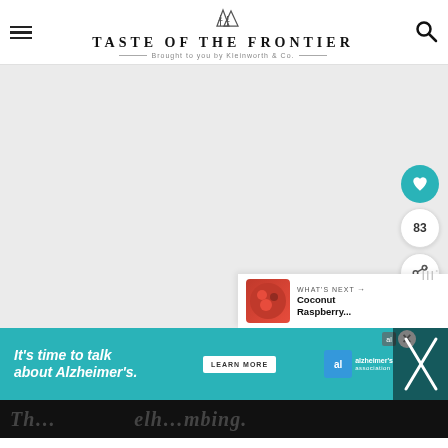TASTE OF THE FRONTIER — Brought to you by Kleinworth & Co.
[Figure (screenshot): Large blank/light gray image placeholder area occupying the main content area of the webpage]
83
WHAT'S NEXT → Coconut Raspberry...
[Figure (infographic): Advertisement banner: teal background with text 'It's time to talk about Alzheimer's.' with a LEARN MORE button and Alzheimer's Association logo]
Th... elh...mbing.